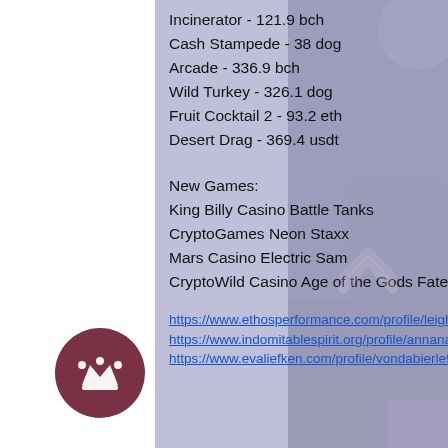Incinerator - 121.9 bch
Cash Stampede - 38 dog
Arcade - 336.9 bch
Wild Turkey - 326.1 dog
Fruit Cocktail 2 - 93.2 eth
Desert Drag - 369.4 usdt
New Games:
King Billy Casino Battle Tanks
CryptoGames Neon Staxx
Mars Casino Electric Sam
CryptoWild Casino Age of the Gods Fate Sisters
https://www.ethosperformance.com/profile/leighhippen7818964/profile
https://www.indomitablespirit.org/profile/annanaegillooly3970278/profile
https://www.evaliefken.com/profile/vondabierle9933042/profile